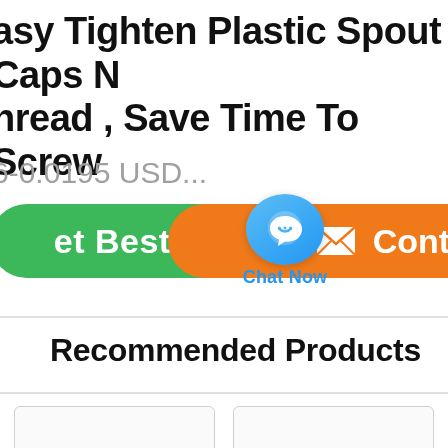Easy Tighten Plastic Spout Caps No Thread , Save Time To Screw
6-0.0195 USD...
[Figure (infographic): Green 'Get Best Price' button on left, blue chat bubble 'Chat Now' icon in center overlap, orange 'Contact' button on right]
Recommended Products
[Figure (other): Two empty product card placeholders side by side]